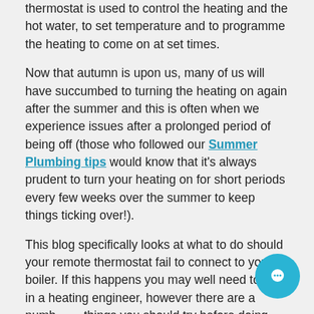thermostat is used to control the heating and the hot water, to set temperature and to programme the heating to come on at set times.
Now that autumn is upon us, many of us will have succumbed to turning the heating on again after the summer and this is often when we experience issues after a prolonged period of being off (those who followed our Summer Plumbing tips would know that it's always prudent to turn your heating on for short periods every few weeks over the summer to keep things ticking over!).
This blog specifically looks at what to do should your remote thermostat fail to connect to your boiler. If this happens you may well need to call in a heating engineer, however there are a number of things you should try before doing that because it could in fact be something simple.